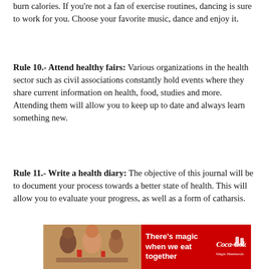burn calories. If you're not a fan of exercise routines, dancing is sure to work for you. Choose your favorite music, dance and enjoy it.
Rule 10.- Attend healthy fairs: Various organizations in the health sector such as civil associations constantly hold events where they share current information on health, food, studies and more. Attending them will allow you to keep up to date and always learn something new.
Rule 11.- Write a health diary: The objective of this journal will be to document your process towards a better state of health. This will allow you to evaluate your progress, as well as a form of catharsis.
[Figure (illustration): Coca-Cola advertisement banner showing people eating together with text 'There's magic when we eat together' and Coca-Cola logo with 'Magic Weekends' tagline]